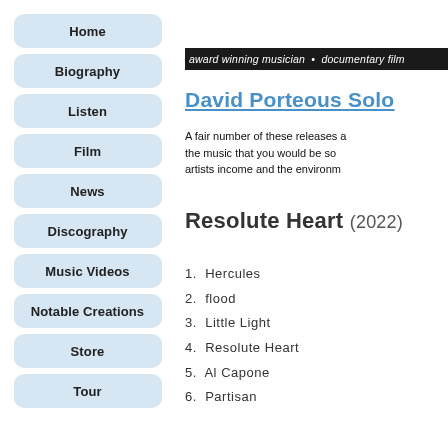Home
Biography
Listen
Film
News
Discography
Music Videos
Notable Creations
Store
Tour
award winning musician • documentary film
David Porteous Solo
A fair number of these releases a the music that you would be so artists income and the environm
Resolute Heart (2022)
1. Hercules
2. flood
3. Little Light
4. Resolute Heart
5. Al Capone
6. Partisan